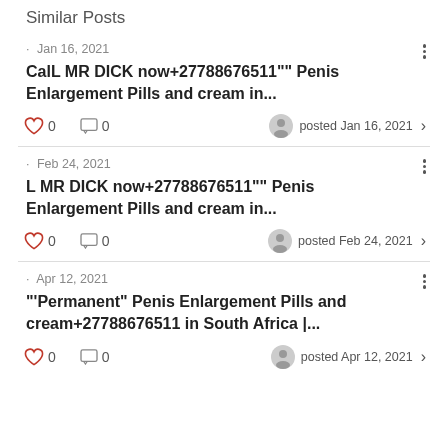Similar Posts
· Jan 16, 2021
CalL MR DICK now+27788676511"" Penis Enlargement Pills and cream in...
❤ 0  💬 0  posted Jan 16, 2021
· Feb 24, 2021
L MR DICK now+27788676511"" Penis Enlargement Pills and cream in...
❤ 0  💬 0  posted Feb 24, 2021
· Apr 12, 2021
"'Permanent" Penis Enlargement Pills and cream+27788676511 in South Africa |...
❤ 0  💬 0  posted Apr 12, 2021